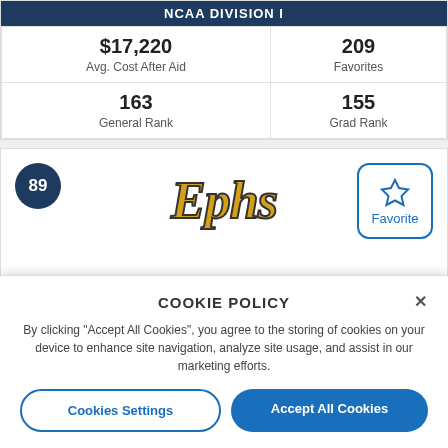NCAA DIVISION I
| $17,220
Avg. Cost After Aid | 209
Favorites |
| 163
General Rank | 155
Grad Rank |
89
[Figure (logo): Ephs mascot logo text in gold italic script font with dark outline]
Favorite
COOKIE POLICY
By clicking "Accept All Cookies", you agree to the storing of cookies on your device to enhance site navigation, analyze site usage, and assist in our marketing efforts.
Cookies Settings
Accept All Cookies